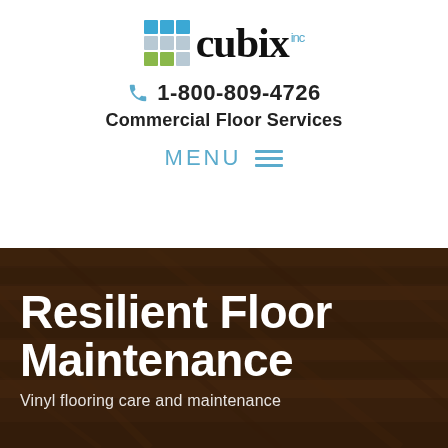[Figure (logo): Cubix Inc logo with colorful grid squares icon and serif wordmark 'cubix' with 'inc' superscript]
1-800-809-4726
Commercial Floor Services
MENU
Resilient Floor Maintenance
Vinyl flooring care and maintenance